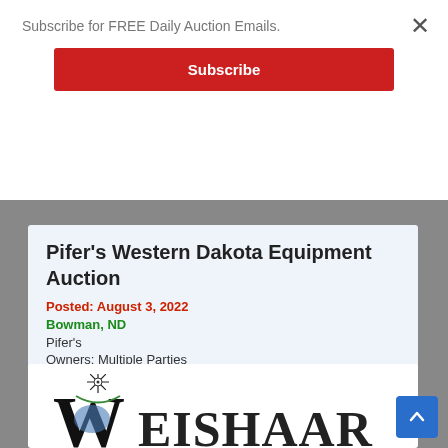Subscribe for FREE Daily Auction Emails.
Subscribe
Pifer's Western Dakota Equipment Auction
Posted: August 3, 2022
Bowman, ND
Pifer's
Owners: Multiple Parties
Share:
[Figure (logo): Weishaar company logo with stylized W and windmill graphic]
WEISHAAR